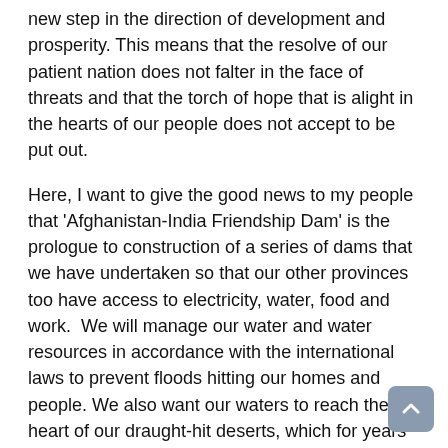new step in the direction of development and prosperity. This means that the resolve of our patient nation does not falter in the face of threats and that the torch of hope that is alight in the hearts of our people does not accept to be put out.
Here, I want to give the good news to my people that 'Afghanistan-India Friendship Dam' is the prologue to construction of a series of dams that we have undertaken so that our other provinces too have access to electricity, water, food and work.  We will manage our water and water resources in accordance with the international laws to prevent floods hitting our homes and people. We also want our waters to reach the heart of our draught-hit deserts, which for years carried the autumnal pain of barrenness.
We are conscious of the difficulty of the path, and we know that destroying is easy and building is difficult. Contrary to those whose main art is destroying and sending messages of destruction, we have taken the